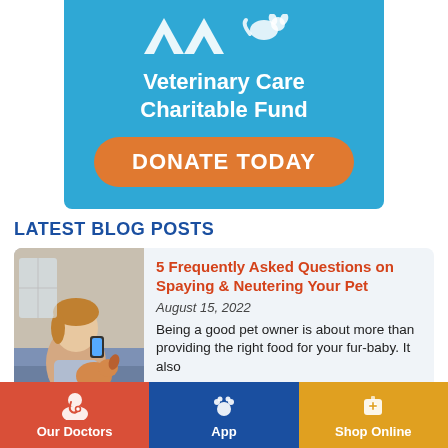[Figure (logo): AVMA Veterinary Care Charitable Fund banner with blue background, AVMA logo at top, and orange DONATE TODAY button]
LATEST BLOG POSTS
[Figure (photo): Woman sitting on couch holding a dog, looking at phone]
5 Frequently Asked Questions on Spaying & Neutering Your Pet
August 15, 2022
Being a good pet owner is about more than providing the right food for your fur-baby. It also
Read More
Our Doctors | App | Shop Online